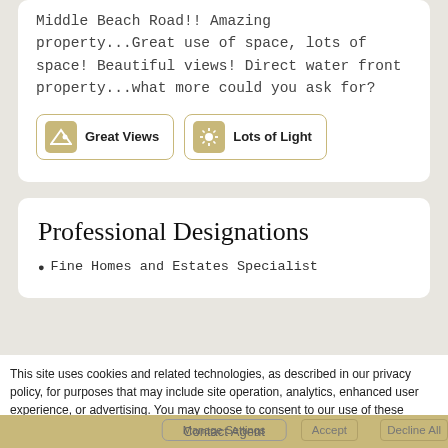Middle Beach Road!! Amazing property...Great use of space, lots of space! Beautiful views! Direct water front property...what more could you ask for?
[Figure (infographic): Two feature badges: 'Great Views' with mountain icon and 'Lots of Light' with sun icon, styled with gold borders]
Professional Designations
Fine Homes and Estates Specialist
This site uses cookies and related technologies, as described in our privacy policy, for purposes that may include site operation, analytics, enhanced user experience, or advertising. You may choose to consent to our use of these technologies, or manage your own preferences.